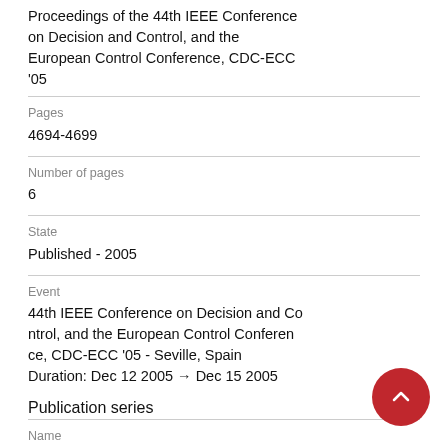Proceedings of the 44th IEEE Conference on Decision and Control, and the European Control Conference, CDC-ECC '05
Pages
4694-4699
Number of pages
6
State
Published - 2005
Event
44th IEEE Conference on Decision and Control, and the European Control Conference, CDC-ECC '05 - Seville, Spain
Duration: Dec 12 2005 → Dec 15 2005
Publication series
Name
Proceedings of the 44th IEEE Conference